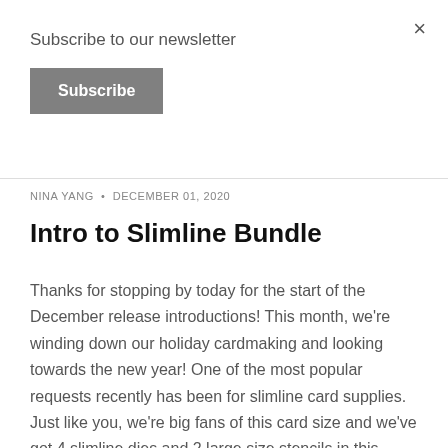×
Subscribe to our newsletter
Subscribe
NINA YANG · DECEMBER 01, 2020
Intro to Slimline Bundle
Thanks for stopping by today for the start of the December release introductions! This month, we're winding down our holiday cardmaking and looking towards the new year! One of the most popular requests recently has been for slimline card supplies. Just like you, we're big fans of this card size and we've got 4 slimline dies and 2 large size stencils in this release! Slim Lacy Layers Die Available Now! $24: Set of 7 dies with the